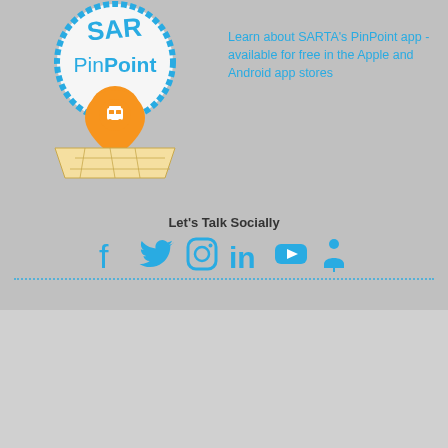[Figure (logo): SARTA PinPoint app logo with blue circular badge text, orange location pin with bus icon, and map graphic]
Learn about SARTA's PinPoint app - available for free in the Apple and Android app stores
Let's Talk Socially
[Figure (infographic): Social media icons row: Facebook, Twitter, Instagram, LinkedIn, YouTube, and a person/location icon, all in blue]
Stark Area Regional Transit Authority
1600 Gateway Blvd. SE, Canton, Ohio 44707

TF: 800-379-3661

TTY: 800-750-0750

PH: 330-477-2782

FX: 330-454-5476

All website content © Stark Area Regional Transit Authority. All rights reserved.